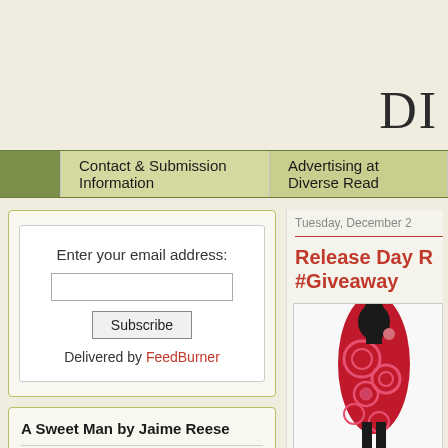DI
Contact & Submission Information | Advertising at Diverse Read
Enter your email address:
Subscribe
Delivered by FeedBurner
A Sweet Man by Jaime Reese
[Figure (photo): Portrait photo of a young man with brown hair against a grey background]
Tuesday, December 2
Release Day R #Giveaway
[Figure (illustration): Silhouette of a woman in red floral dress against white background]